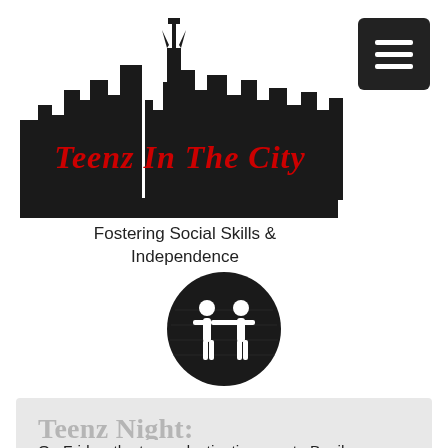[Figure (logo): Teenz In The City logo with NYC skyline silhouette in black and red text]
Fostering Social Skills & Independence
[Figure (logo): Black circular icon with two human figures (adults/teens) holding hands]
Teenz Night: Benihana
On Friday, the teens destination was to Benihana. The teens met at their usual spot and were very excitd about seeing a hibachi